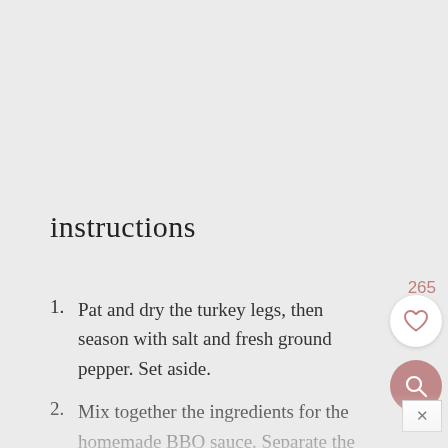instructions
Pat and dry the turkey legs, then season with salt and fresh ground pepper.  Set aside.
Mix together the ingredients for the homemade BBQ sauce.  Separate the sauce into 2 bowls, use half for basting while grilling, and use the rest for dipping